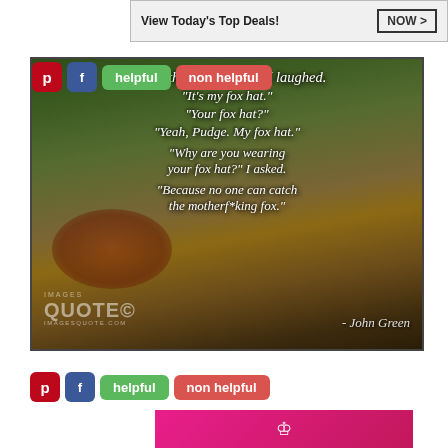[Figure (screenshot): Advertisement banner showing 'View Today's Top Deals!' with NOW > button]
[Figure (photo): Quote image with dark forest background showing a John Green quote about a fox hat. Text reads: '"What the hell is that?" I laughed. "It's my fox hat." "Your fox hat?" "Yeah, Pudge. My fox hat." "Why are you wearing your fox hat?" I asked. "Because no one can catch the motherf*king fox."' — John Green. Watermarked with IMAGES QUOTE logo.]
[Figure (screenshot): Bottom portion of pink/magenta image with crown logo, partially visible]